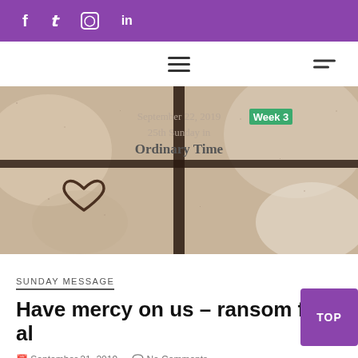f  twitter  instagram  in
[Figure (screenshot): Navigation bar with hamburger menu icons]
[Figure (photo): Sepia-toned photo of a cross window with a heart drawn in condensation. Overlaid text reads: September 22, 2019 Week 3 / 25th Sunday in / Ordinary Time]
SUNDAY MESSAGE
Have mercy on us – ransom for al
September 21, 2019   No Comments